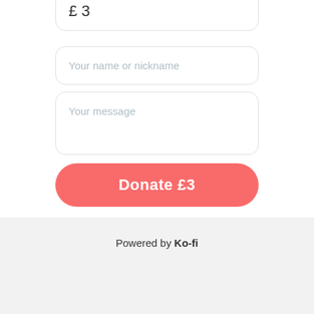£ 3
Your name or nickname
Your message
Donate £3
Ko-fi doesn't take a fee!
Powered by Ko-fi